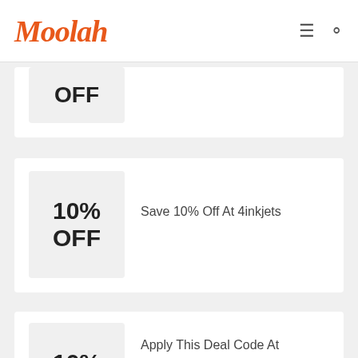Moolah
[Figure (other): Partially visible coupon card showing OFF text]
[Figure (other): Coupon card showing 10% OFF badge with text: Save 10% Off At 4inkjets]
Save 10% Off At 4inkjets
[Figure (other): Coupon card showing 10% OFF badge with text: Apply This Deal Code At Checkout And Save 10% On...]
Apply This Deal Code At Checkout And Save 10% On...